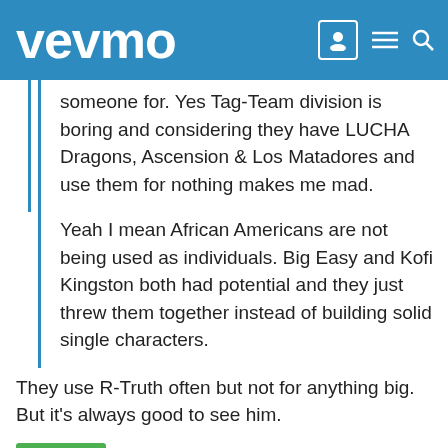vevmo
someone for. Yes Tag-Team division is boring and considering they have LUCHA Dragons, Ascension & Los Matadores and use them for nothing makes me mad.
Yeah I mean African Americans are not being used as individuals. Big Easy and Kofi Kingston both had potential and they just threw them together instead of building solid single characters.
They use R-Truth often but not for anything big. But it's always good to see him.